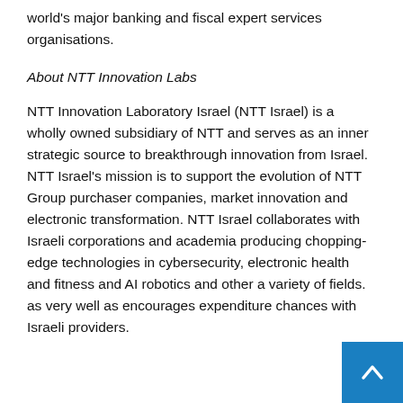world's major banking and fiscal expert services organisations.
About NTT Innovation Labs
NTT Innovation Laboratory Israel (NTT Israel) is a wholly owned subsidiary of NTT and serves as an inner strategic source to breakthrough innovation from Israel. NTT Israel's mission is to support the evolution of NTT Group purchaser companies, market innovation and electronic transformation. NTT Israel collaborates with Israeli corporations and academia producing chopping-edge technologies in cybersecurity, electronic health and fitness and AI robotics and other a variety of fields. as very well as encourages expenditure chances with Israeli providers.